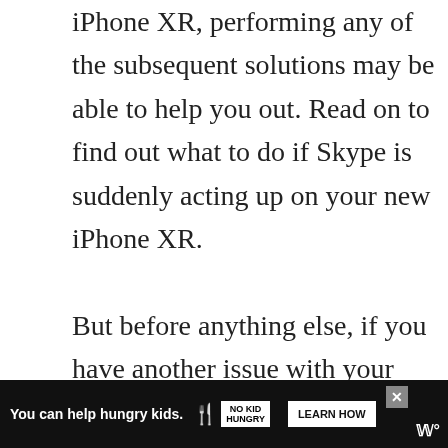iPhone XR, performing any of the subsequent solutions may be able to help you out. Read on to find out what to do if Skype is suddenly acting up on your new iPhone XR.

But before anything else, if you have another issue with your phone, drop by our troubleshooting page as we have already addressed hundreds of issues reported by the owners. Odds are that t...
[Figure (other): Advertisement banner at bottom: dark background with text 'You can help hungry kids.' alongside No Kid Hungry logo and 'LEARN HOW' button. Close button (x) at top right. Partly overlaps page content.]